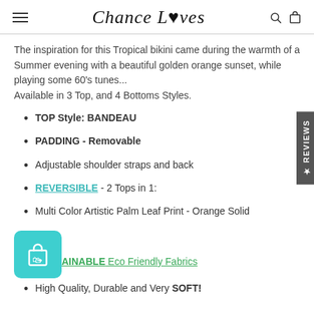Chance Loves
The inspiration for this Tropical bikini came during the warmth of a Summer evening with a beautiful golden orange sunset, while playing some 60's tunes... Available in 3 Top, and 4 Bottoms Styles.
TOP Style: BANDEAU
PADDING - Removable
Adjustable shoulder straps and back
REVERSIBLE - 2 Tops in 1:
Multi Color Artistic Palm Leaf Print - Orange Solid
SUSTAINABLE Eco Friendly Fabrics
High Quality, Durable and Very SOFT!